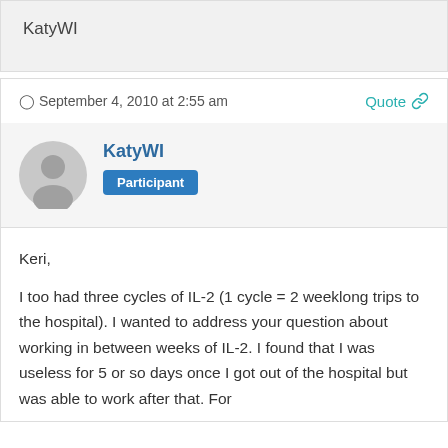KatyWI
September 4, 2010 at 2:55 am
Quote
KatyWI
Participant
Keri,

I too had three cycles of IL-2 (1 cycle = 2 weeklong trips to the hospital).  I wanted to address your question about working in between weeks of IL-2.  I found that I was useless for 5 or so days once I got out of the hospital but was able to work after that.  For